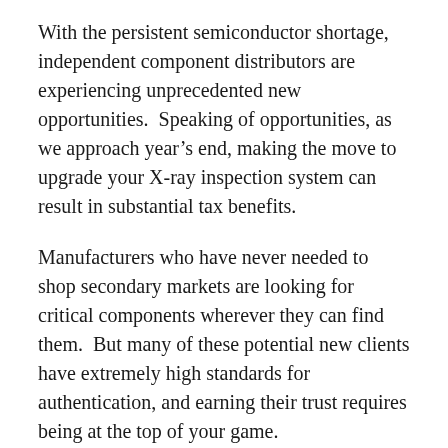With the persistent semiconductor shortage, independent component distributors are experiencing unprecedented new opportunities.  Speaking of opportunities, as we approach year’s end, making the move to upgrade your X-ray inspection system can result in substantial tax benefits.
Manufacturers who have never needed to shop secondary markets are looking for critical components wherever they can find them.  But many of these potential new clients have extremely high standards for authentication, and earning their trust requires being at the top of your game.
Whether you need to trade in your legacy X-ray machine or add an additional system, upgrades to your authentication practices can help you win some of these important new customers.  With the fourth quarter upon us, it’s time to take advantage of the potential tax benefits of purchasing or leasing equipment before